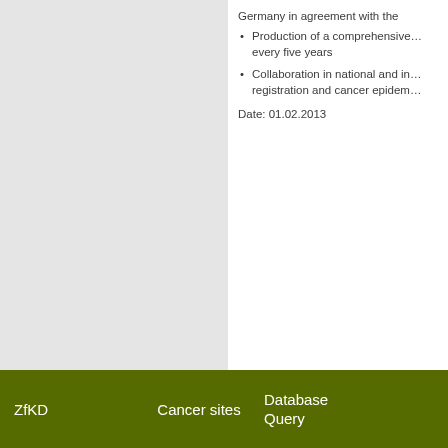Germany in agreement with the…
Production of a comprehensive… every five years
Collaboration in national and in… registration and cancer epidem…
Date: 01.02.2013
ZfKD    Cancer sites    Database Query